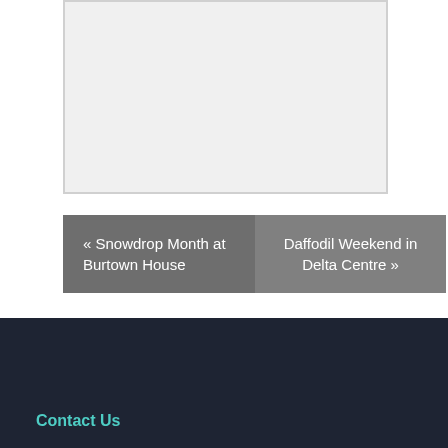[Figure (photo): Placeholder image area with light grey background and border]
« Snowdrop Month at Burtown House
Daffodil Weekend in Delta Centre »
Contact Us